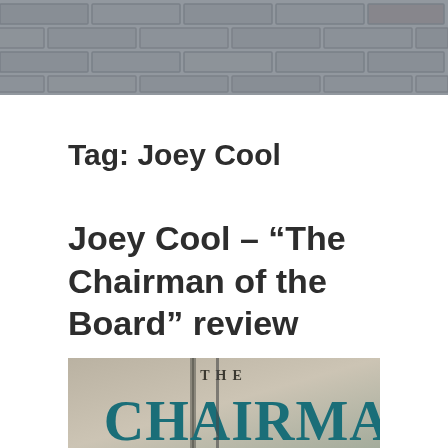[Figure (photo): Gray brick wall texture used as a header background image]
Tag: Joey Cool
Joey Cool – “The Chairman of the Board” review
[Figure (photo): Album cover for 'The Chairman of the Board' showing large teal/dark text reading 'THE CHAIRMAN' on a muted background with a vertical architectural element]